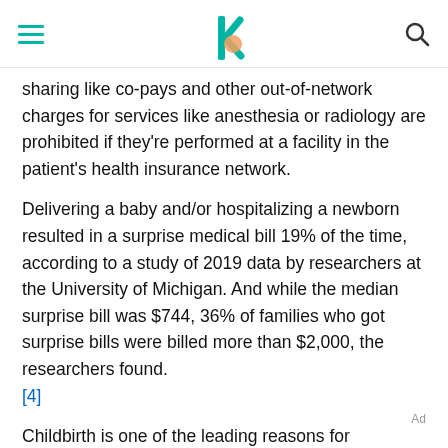[navigation header with hamburger menu, logo, and search icon]
sharing like co-pays and other out-of-network charges for services like anesthesia or radiology are prohibited if they're performed at a facility in the patient's health insurance network.
Delivering a baby and/or hospitalizing a newborn resulted in a surprise medical bill 19% of the time, according to a study of 2019 data by researchers at the University of Michigan. And while the median surprise bill was $744, 36% of families who got surprise bills were billed more than $2,000, the researchers found. [4]
Childbirth is one of the leading reasons for